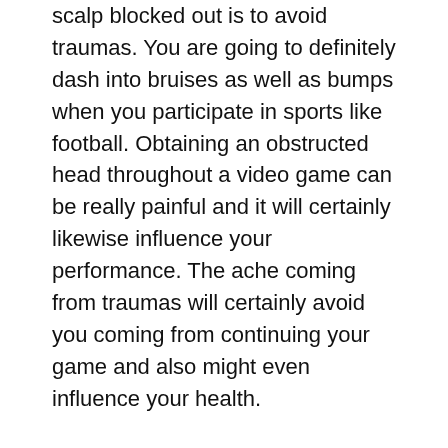scalp blocked out is to avoid traumas. You are going to definitely dash into bruises as well as bumps when you participate in sports like football. Obtaining an obstructed head throughout a video game can be really painful and it will certainly likewise influence your performance. The ache coming from traumas will certainly avoid you coming from continuing your game and also might even influence your health.
As you see, there are many main reason whies you ought to discover how to participate in soccer without a helmet. You can easily exercise through making use of football video recordings if you don't have the self-confidence right today to use one. You are going to have the ability to engage in without believing any sort of pain. You will be actually able to create the ideal